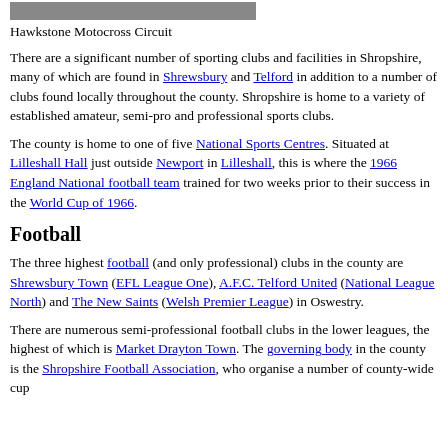[Figure (photo): Hawkstone Motocross Circuit landscape photo]
Hawkstone Motocross Circuit
There are a significant number of sporting clubs and facilities in Shropshire, many of which are found in Shrewsbury and Telford in addition to a number of clubs found locally throughout the county. Shropshire is home to a variety of established amateur, semi-pro and professional sports clubs.
The county is home to one of five National Sports Centres. Situated at Lilleshall Hall just outside Newport in Lilleshall, this is where the 1966 England National football team trained for two weeks prior to their success in the World Cup of 1966.
Football
The three highest football (and only professional) clubs in the county are Shrewsbury Town (EFL League One), A.F.C. Telford United (National League North) and The New Saints (Welsh Premier League) in Oswestry.
There are numerous semi-professional football clubs in the lower leagues, the highest of which is Market Drayton Town. The governing body in the county is the Shropshire Football Association, who organise a number of county-wide cup